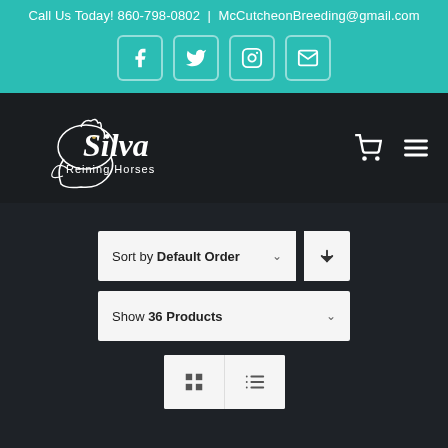Call Us Today! 860-798-0802 | McCutcheonBreeding@gmail.com
[Figure (screenshot): Social media icons: Facebook, Twitter, Instagram, Email on teal background]
[Figure (logo): Silva Reining Horses logo - white script text on dark background with horse silhouette]
Sort by Default Order
Show 36 Products
[Figure (other): Grid and list view toggle buttons]